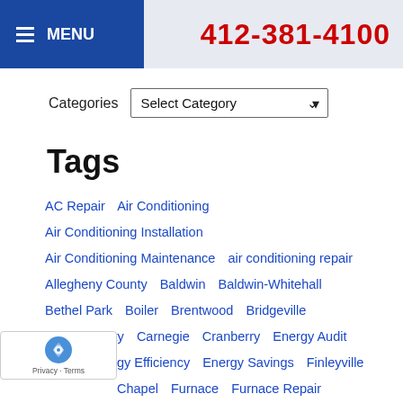MENU  412-381-4100
Categories  Select Category
Tags
AC Repair
Air Conditioning
Air Conditioning Installation
Air Conditioning Maintenance
air conditioning repair
Allegheny County
Baldwin
Baldwin-Whitehall
Bethel Park
Boiler
Brentwood
Bridgeville
Butler County
Carnegie
Cranberry
Energy Audit
Energy Efficiency
Energy Savings
Finleyville
Chapel
Furnace
Furnace Repair
Geothermal
Gibsonia
Heating
Heating Installation